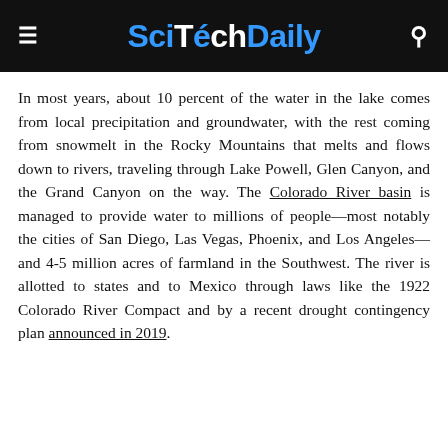SciTechDaily
In most years, about 10 percent of the water in the lake comes from local precipitation and groundwater, with the rest coming from snowmelt in the Rocky Mountains that melts and flows down to rivers, traveling through Lake Powell, Glen Canyon, and the Grand Canyon on the way. The Colorado River basin is managed to provide water to millions of people—most notably the cities of San Diego, Las Vegas, Phoenix, and Los Angeles—and 4-5 million acres of farmland in the Southwest. The river is allotted to states and to Mexico through laws like the 1922 Colorado River Compact and by a recent drought contingency plan announced in 2019.